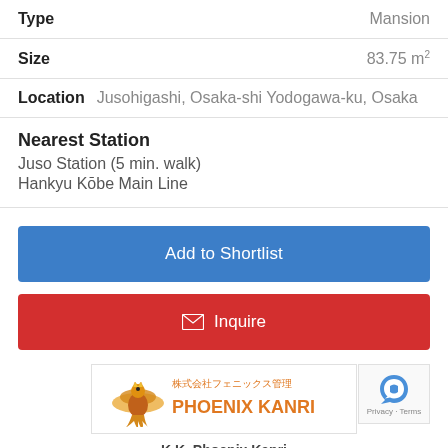| Type | Mansion |
| Size | 83.75 m² |
Location   Jusohigashi, Osaka-shi Yodogawa-ku, Osaka
Nearest Station
Juso Station (5 min. walk)
Hankyu Kōbe Main Line
Add to Shortlist
✉ Inquire
[Figure (logo): Phoenix Kanri company logo with phoenix bird and Japanese text 株式会社フェニックス管理]
K.K. Phoenix Kanri